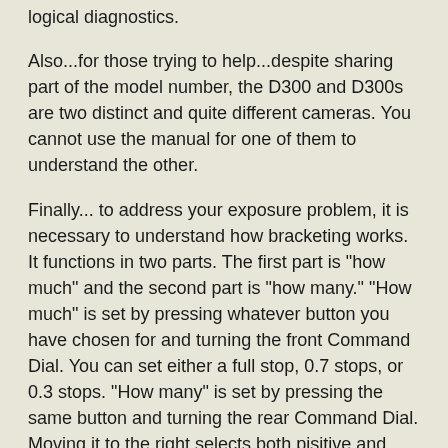logical diagnostics.
Also...for those trying to help...despite sharing part of the model number, the D300 and D300s are two distinct and quite different cameras. You cannot use the manual for one of them to understand the other.
Finally... to address your exposure problem, it is necessary to understand how bracketing works. It functions in two parts. The first part is "how much" and the second part is "how many." "How much" is set by pressing whatever button you have chosen for and turning the front Command Dial. You can set either a full stop, 0.7 stops, or 0.3 stops. "How many" is set by pressing the same button and turning the rear Command Dial. Moving it to the right selects both pisitive and negative bracketing. To the left selects positive or negative only.
On my camera the Fn button (on the front under the